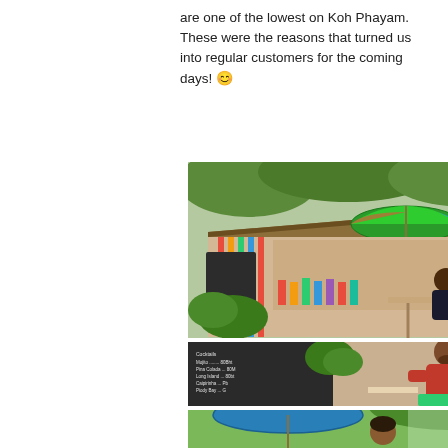are one of the lowest on Koh Phayam. These were the reasons that turned us into regular customers for the coming days! 😊
[Figure (photo): Outdoor cafe/restaurant on Koh Phayam with colorful umbrella, wooden structure, tropical plants, two people sitting at a table]
[Figure (photo): Man in red t-shirt sitting on green chair next to a chalkboard menu sign at a beachside bar/cafe]
[Figure (photo): Person with sunglasses on head sitting under a blue umbrella in tropical garden setting]